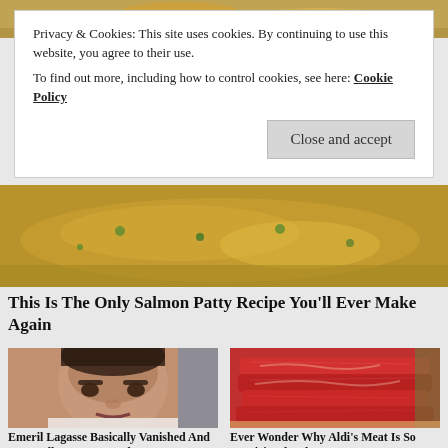[Figure (photo): Partial food image at top of page, appears to be a rice or grain dish]
Privacy & Cookies: This site uses cookies. By continuing to use this website, you agree to their use.
To find out more, including how to control cookies, see here: Cookie Policy
[Figure (photo): Close-up of a cooked salmon patty with vegetables on a plate]
This Is The Only Salmon Patty Recipe You'll Ever Make Again
[Figure (photo): Photo of Emeril Lagasse, a celebrity chef]
[Figure (photo): Raw stacked meat cuts, likely beef or pork, on a wooden board]
Emeril Lagasse Basically Vanished And It's Really No Secret Why
Ever Wonder Why Aldi's Meat Is So Suspiciously Cheap?